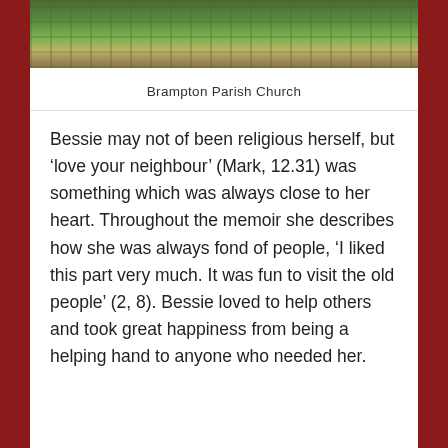[Figure (photo): Partial view of Brampton Parish Church with green lawn and stone building]
Brampton Parish Church
Bessie may not of been religious herself, but ‘love your neighbour’ (Mark, 12.31) was something which was always close to her heart. Throughout the memoir she describes how she was always fond of people, ‘I liked this part very much. It was fun to visit the old people’ (2, 8). Bessie loved to help others and took great happiness from being a helping hand to anyone who needed her.